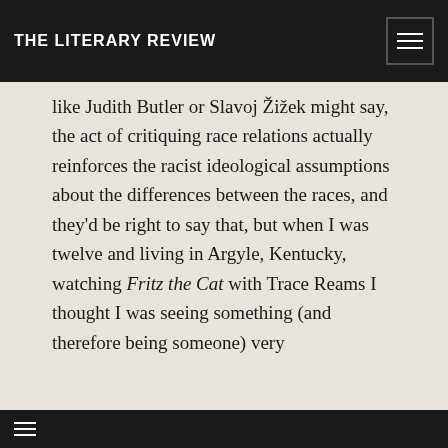THE LITERARY REVIEW
like Judith Butler or Slavoj Žižek might say, the act of critiquing race relations actually reinforces the racist ideological assumptions about the differences between the races, and they'd be right to say that, but when I was twelve and living in Argyle, Kentucky, watching Fritz the Cat with Trace Reams I thought I was seeing something (and therefore being someone) very